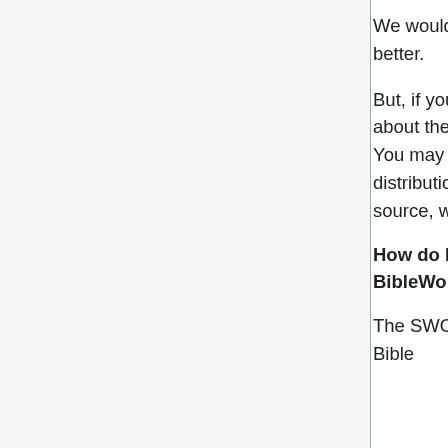We would like to discourage this. Please work with us in making our software better.
But, if you really need the text, each module has a conf file which will tell you about the origin of the text. Please obtain the source the same way we did. You may not convert the modules that have been licensed to CrossWire for distribution. The KJV module is the only one for which we maintain the source, which you can obtain here.
How do I convert modules from other Bible software (e.g. e-Sword, BibleWorks, or OLB) into Sword modules?
The SWORD Project does not support the conversion of texts from other Bible